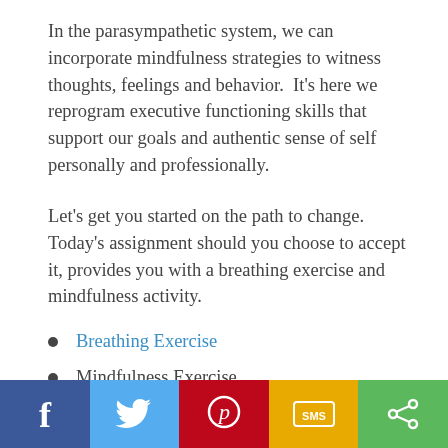In the parasympathetic system, we can incorporate mindfulness strategies to witness thoughts, feelings and behavior.  It's here we reprogram executive functioning skills that support our goals and authentic sense of self personally and professionally.
Let's get you started on the path to change.  Today's assignment should you choose to accept it, provides you with a breathing exercise and mindfulness activity.
Breathing Exercise
Mindfulness Exercise
[Figure (other): Social sharing bar with five buttons: Facebook (dark blue), Twitter (light blue), Pinterest (red), SMS (yellow/orange), and Share (green), each with corresponding icons.]